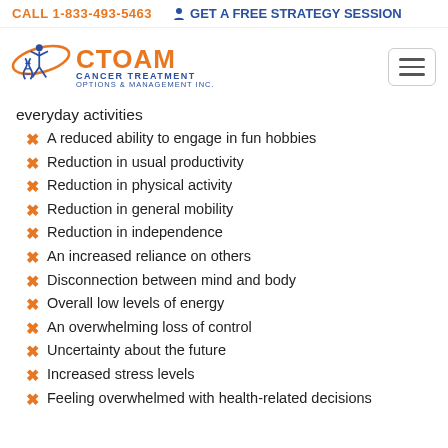CALL 1-833-493-5463   GET A FREE STRATEGY SESSION
[Figure (logo): CTOAM Cancer Treatment Options & Management Inc. logo with orange and blue stylized figure and DNA helix]
everyday activities
A reduced ability to engage in fun hobbies
Reduction in usual productivity
Reduction in physical activity
Reduction in general mobility
Reduction in independence
An increased reliance on others
Disconnection between mind and body
Overall low levels of energy
An overwhelming loss of control
Uncertainty about the future
Increased stress levels
Feeling overwhelmed with health-related decisions